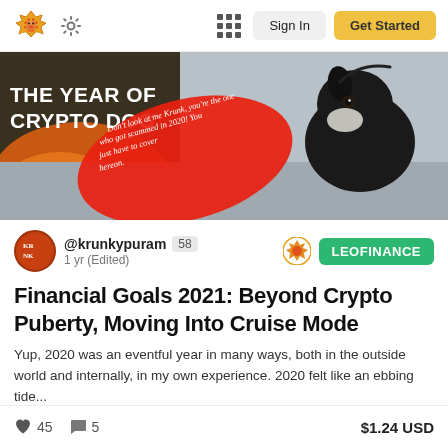Sign In | Get Started
[Figure (screenshot): Hero banner image showing a black dog on a leash with text overlay reading 'THE YEAR OF CRYPTO DOG' and a red oval speech bubble saying 'Don't look at me Krunk, you're the one who got scammed in 2020! You just have to cover hereon.']
@krunkypuram 58 | 1 yr (Edited) | LEOFINANCE
Financial Goals 2021: Beyond Crypto Puberty, Moving Into Cruise Mode
Yup, 2020 was an eventful year in many ways, both in the outside world and internally, in my own experience. 2020 felt like an ebbing tide...
45 likes | 5 comments | $1.24 USD